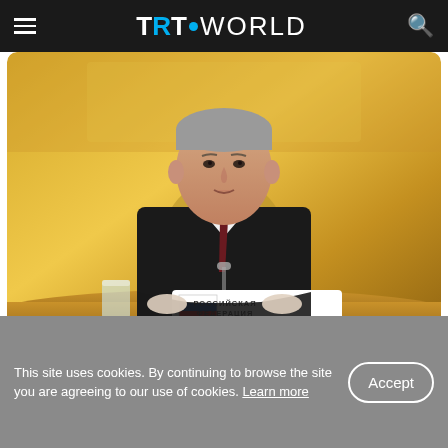TRT WORLD
[Figure (photo): A man in a dark suit with a dark red tie sitting at a table with a nameplate reading 'РОССИЙСКАЯ ФЕДЕРАЦИЯ' (Russian Federation) with a Russian flag, in an ornate gold room]
12:28 PM · May 17, 2022
13  Reply  Copy link
This site uses cookies. By continuing to browse the site you are agreeing to our use of cookies. Learn more
Accept